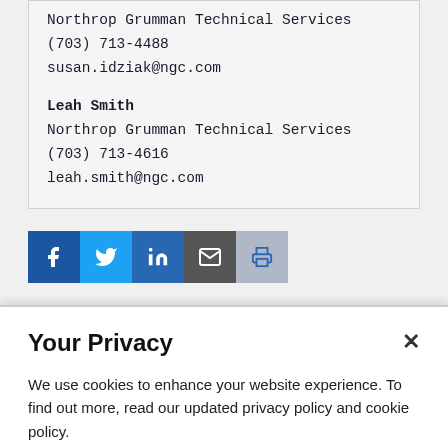Northrop Grumman Technical Services
(703) 713-4488
susan.idziak@ngc.com

Leah Smith
Northrop Grumman Technical Services
(703) 713-4616
leah.smith@ngc.com
[Figure (infographic): Social sharing icons: Facebook, Twitter, LinkedIn, Email, Print]
Your Privacy
We use cookies to enhance your website experience. To find out more, read our updated privacy policy and cookie policy.
More Information
OK